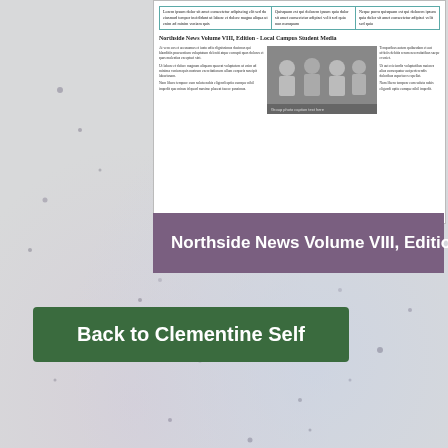[Figure (photo): Partial view of a newspaper page (Northside News) thumbnail showing a table at top with teal border, a bold headline, a photo of people, and multi-column text below, partially cropped.]
Northside News Volume VIII, Editio...
Back to Clementine Self